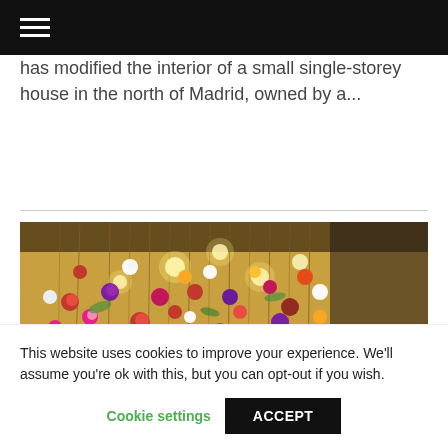☰ (hamburger menu icon)
has modified the interior of a small single-storey house in the north of Madrid, owned by a...
[Figure (photo): Close-up photo of a colorful floral installation with hanging flowers and lights, creating a lush ceiling of mixed blooms in red, pink, purple, white and gold against a warm-lit interior.]
This website uses cookies to improve your experience. We'll assume you're ok with this, but you can opt-out if you wish.
Cookie settings   ACCEPT